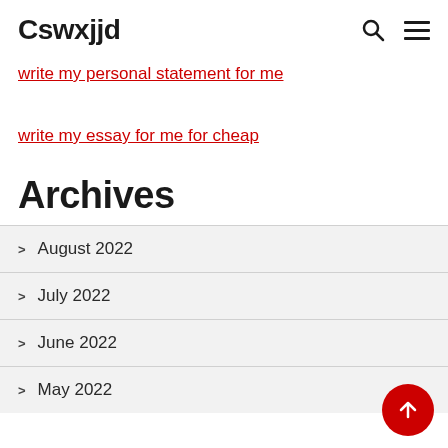Cswxjjd
write my personal statement for me
write my essay for me for cheap
Archives
August 2022
July 2022
June 2022
May 2022